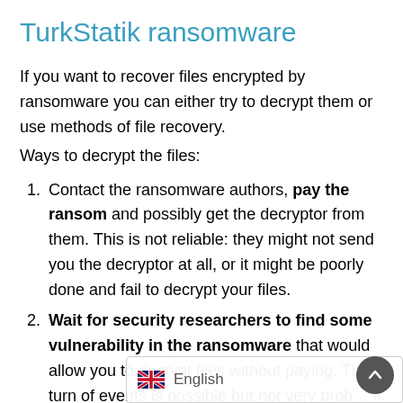TurkStatik ransomware
If you want to recover files encrypted by ransomware you can either try to decrypt them or use methods of file recovery.
Ways to decrypt the files:
Contact the ransomware authors, pay the ransom and possibly get the decryptor from them. This is not reliable: they might not send you the decryptor at all, or it might be poorly done and fail to decrypt your files.
Wait for security researchers to find some vulnerability in the ransomware that would allow you to decrypt files without paying. This turn of events is possible but not very probable if